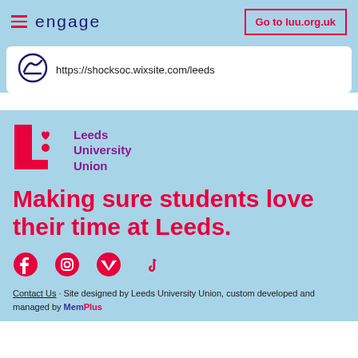engage | Go to luu.org.uk
https://shocksoc.wixsite.com/leeds
[Figure (logo): Leeds University Union logo with pink L shape and heart/circle icons, and purple text Leeds University Union]
Making sure students love their time at Leeds.
[Figure (illustration): Social media icons: Facebook, Instagram, Twitter, TikTok]
Contact Us · Site designed by Leeds University Union, custom developed and managed by MemPlus